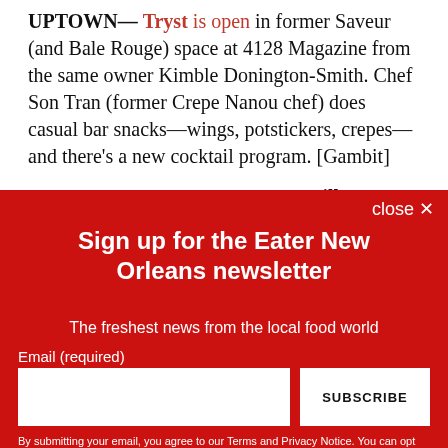UPTOWN— Tryst is open in former Saveur (and Bale Rouge) space at 4128 Magazine from the same owner Kimble Donington-Smith. Chef Son Tran (former Crepe Nanou chef) does casual bar snacks—wings, potstickers, crepes— and there's a new cocktail program. [Gambit]
NEW ORLEANS EAST— Sunset Grill, a casual new eatery
Sign up for the Eater New Orleans newsletter
The freshest news from the local food world
Email (required)
By submitting your email, you agree to our Terms and Privacy Notice. You can opt out at any time. This site is protected by reCAPTCHA and the Google Privacy Policy and Terms of Service apply.